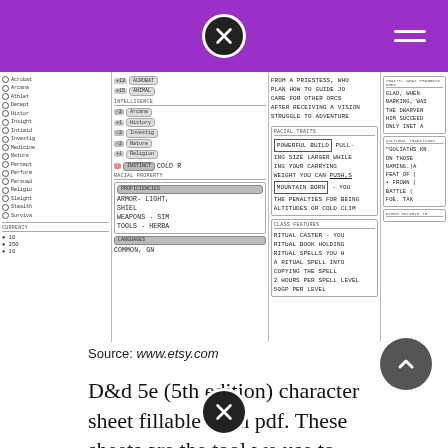[Figure (photo): Photograph of a handwritten D&D 5e character sheet showing skills, traits, equipment, and class features in handwritten notes]
Source: www.etsy.com
D&d 5e (5th edition) character sheet fillable form pdf. These sheets are the tool we use to help keep track of all the numbers, features,